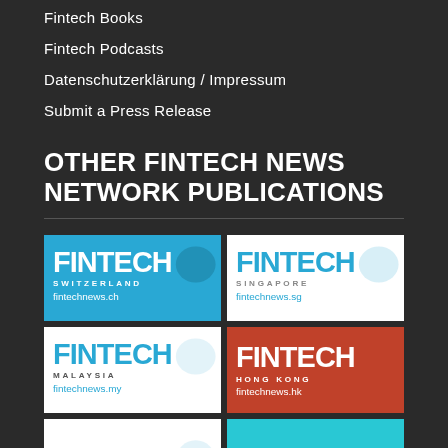Fintech Books
Fintech Podcasts
Datenschutzerklärung / Impressum
Submit a Press Release
OTHER FINTECH NEWS NETWORK PUBLICATIONS
[Figure (logo): Fintech Switzerland logo — blue background, fintechnews.ch]
[Figure (logo): Fintech Singapore logo — white background, fintechnews.sg]
[Figure (logo): Fintech Malaysia logo — white background, fintechnews.my]
[Figure (logo): Fintech Hong Kong logo — red/orange background, fintechnews.hk]
[Figure (logo): Fintech publication logo — white background, partial view]
[Figure (logo): Fintech publication logo — cyan background, partial view]